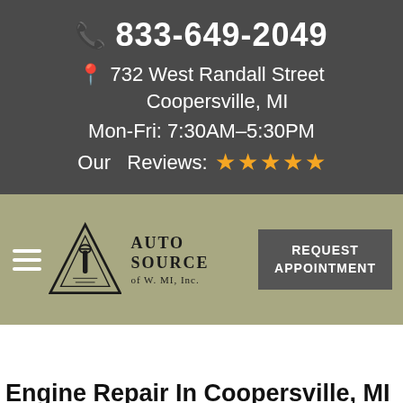833-649-2049
732 West Randall Street
Coopersville, MI
Mon-Fri: 7:30AM–5:30PM
Our  Reviews: ★★★★★
[Figure (logo): Auto Source of W. MI, Inc. logo with triangle and wrench icon]
REQUEST APPOINTMENT
Engine Repair In Coopersville, MI